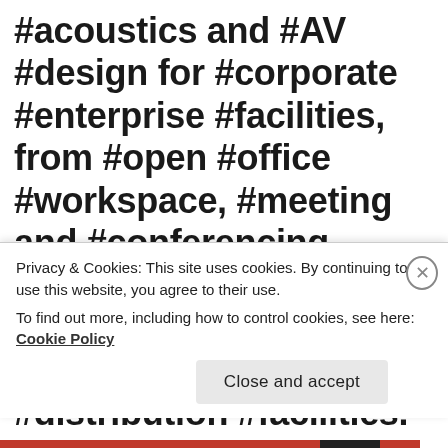#acoustics and #AV #design for #corporate #enterprise #facilities, from #open #office #workspace, #meeting and #conferencing #environments, to #manufacturing, #processing, and #distribution #facilities. Our #priority
Privacy & Cookies: This site uses cookies. By continuing to use this website, you agree to their use.
To find out more, including how to control cookies, see here: Cookie Policy
Close and accept